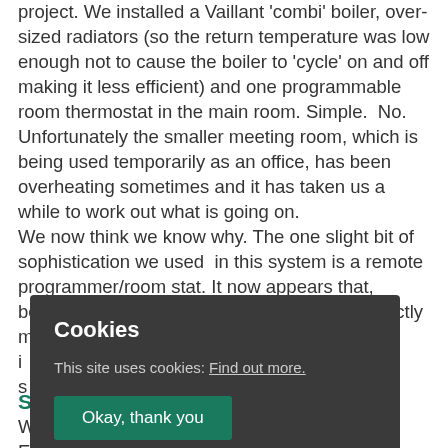project. We installed a Vaillant 'combi' boiler, over-sized radiators (so the return temperature was low enough not to cause the boiler to 'cycle' on and off making it less efficient) and one programmable room thermostat in the main room. Simple. No. Unfortunately the smaller meeting room, which is being used temporarily as an office, has been overheating sometimes and it has taken us a while to work out what is going on. We now think we know why. The one slight bit of sophistication we used in this system is a remote programmer/room stat. It now appears that, because t ext directly m te i efully this is s
[Figure (other): Cookie consent overlay dialog on dark background. Title: 'Cookies'. Body text: 'This site uses cookies: Find out more.' with underlined link. Green button: 'Okay, thank you'.]
SS
W ata for the EnerPHit certification which will hopefully be happening in spring 2014. Our final blog will include all the final